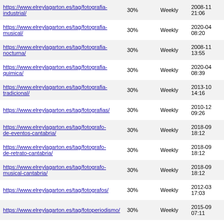| URL | Priority | Change Freq | Last Modified |
| --- | --- | --- | --- |
| https://www.elreylagarton.es/tag/fotografia-industrial/ | 30% | Weekly | 2008-11 21:06 |
| https://www.elreylagarton.es/tag/fotografia-musical/ | 30% | Weekly | 2020-04 08:20 |
| https://www.elreylagarton.es/tag/fotografia-nocturna/ | 30% | Weekly | 2008-11 13:55 |
| https://www.elreylagarton.es/tag/fotografia-quimica/ | 30% | Weekly | 2020-04 08:39 |
| https://www.elreylagarton.es/tag/fotografia-tradicional/ | 30% | Weekly | 2013-10 14:16 |
| https://www.elreylagarton.es/tag/fotografias/ | 30% | Weekly | 2010-12 09:26 |
| https://www.elreylagarton.es/tag/fotografo-de-eventos-cantabria/ | 30% | Weekly | 2018-09 18:12 |
| https://www.elreylagarton.es/tag/fotografo-de-retrato-cantabria/ | 30% | Weekly | 2018-09 18:12 |
| https://www.elreylagarton.es/tag/fotografo-musical-cantabria/ | 30% | Weekly | 2018-09 18:12 |
| https://www.elreylagarton.es/tag/fotografos/ | 30% | Weekly | 2012-03 17:03 |
| https://www.elreylagarton.es/tag/fotoperiodismo/ | 30% | Weekly | 2015-09 07:11 |
| https://www.elreylagarton.es/tag/franco/ | 30% | Weekly | 2011-09 07:14 |
| https://www.elreylagarton.es/tag/freak/ | 30% | Weekly | 2020-09 |